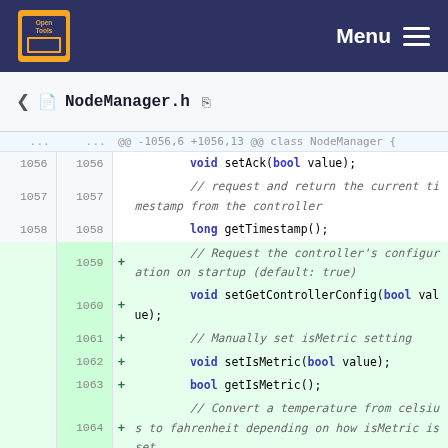Menu
NodeManager.h
[Figure (screenshot): Code diff view of NodeManager.h showing lines 1056-1064 with added lines highlighted in green. Lines 1059-1064 are new additions: a comment about requesting controller configuration on startup, setGetControllerConfig(bool value), a comment about manually setting isMetric, setIsMetric(bool value), getIsMetric(), and a comment about converting temperature from celsius to fahrenheit depending on how isMetric is set.]